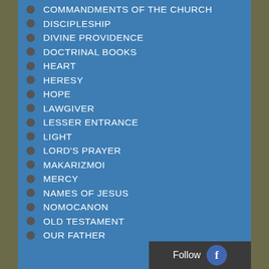COMMANDMENTS OF THE CHURCH
DISCIPLESHIP
DIVINE PROVIDENCE
DOCTRINAL BOOKS
HEART
HERESY
HOPE
LAWGIVER
LESSER ENTRANCE
LIGHT
LORD'S PRAYER
MAKARIZMOI
MERCY
NAMES OF JESUS
NOMOCANON
OLD TESTAMENT
OUR FATHER